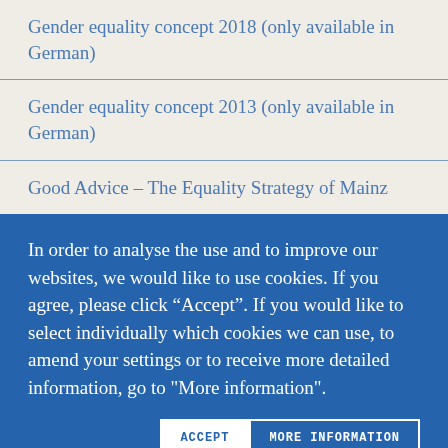Gender equality concept 2018 (only available in German)
Gender equality concept 2013 (only available in German)
Good Advice – The Equality Strategy of Mainz
In order to analyse the use and to improve our websites, we would like to use cookies. If you agree, please click “Accept”. If you would like to select individually which cookies we can use, to amend your settings or to receive more detailed information, go to "More information".